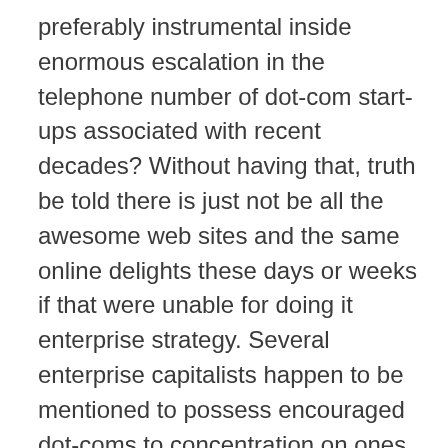preferably instrumental inside enormous escalation in the telephone number of dot-com start-ups associated with recent decades? Without having that, truth be told there is just not be all the awesome web sites and the same online delights these days or weeks if that were unable for doing it enterprise strategy. Several enterprise capitalists happen to be mentioned to possess encouraged dot-coms to concentration on ones upward rather then on realizing early profits – plus they were proper! Now i mean adding your individual venture on the still developing list regarding flourishing project capital enterprises. We're residing in a different times about industry wheresoever the World-wide-web is the actual modern day regular